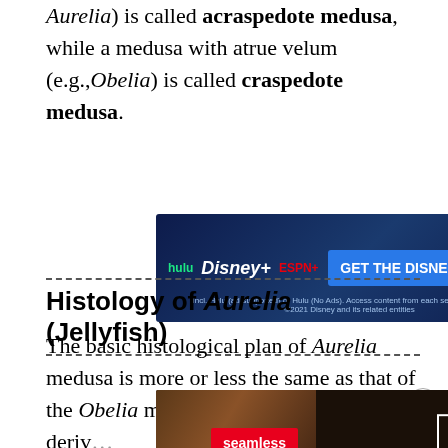Aurelia) is called acraspedote medusa, while a medusa with atrue velum (e.g.,Obelia) is called craspedote medusa.
[Figure (screenshot): Disney Bundle advertisement banner showing Hulu, Disney+, and ESPN+ logos with blue background and 'GET THE DISNEY BUNDLE' call-to-action button]
Histology of Aurelia (Jellyfish)
The basic histological plan of Aurelia medusa is more or less the same as that of the Obelia medusa. It is diploblastic and deriv... ecto...
[Figure (screenshot): Seamless food delivery advertisement showing pizza image and ORDER NOW button]